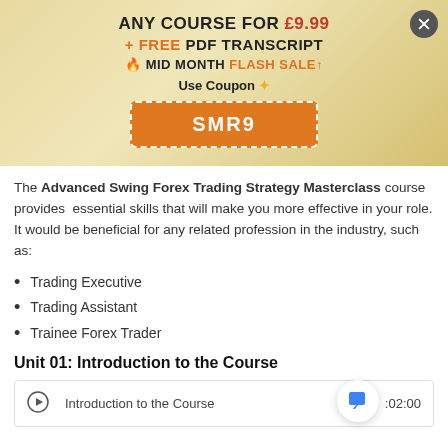[Figure (infographic): Promotional banner with gold/beige gradient background. Shows: 'ANY COURSE FOR £9.99', '+ FREE PDF TRANSCRIPT', '🔥 MID MONTH FLASH SALE↑', 'Use Coupon', and coupon code box 'SMR9'. Close button (×) in top right corner.]
The Advanced Swing Forex Trading Strategy Masterclass course provides  essential skills that will make you more effective in your role. It would be beneficial for any related profession in the industry, such as:
Trading Executive
Trading Assistant
Trainee Forex Trader
Unit 01: Introduction to the Course
Introduction to the Course   :02:00